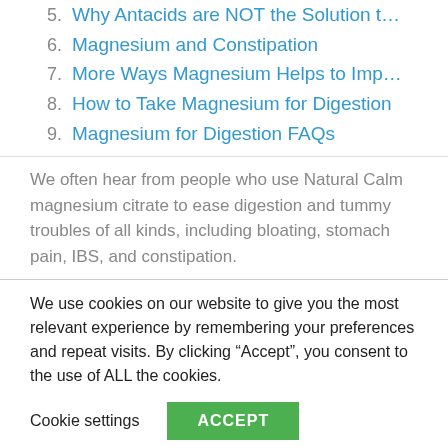5. Why Antacids are NOT the Solution t...
6. Magnesium and Constipation
7. More Ways Magnesium Helps to Imp...
8. How to Take Magnesium for Digestion
9. Magnesium for Digestion FAQs
We often hear from people who use Natural Calm magnesium citrate to ease digestion and tummy troubles of all kinds, including bloating, stomach pain, IBS, and constipation.
We use cookies on our website to give you the most relevant experience by remembering your preferences and repeat visits. By clicking “Accept”, you consent to the use of ALL the cookies.
Cookie settings  ACCEPT